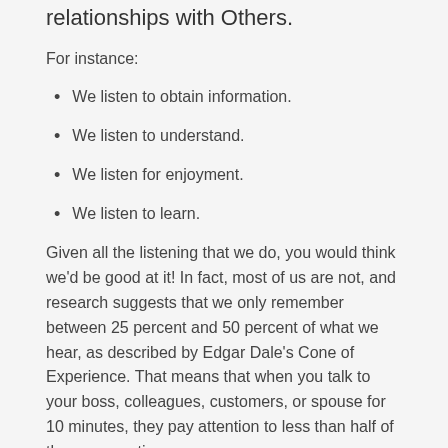relationships with Others.
For instance:
We listen to obtain information.
We listen to understand.
We listen for enjoyment.
We listen to learn.
Given all the listening that we do, you would think we'd be good at it! In fact, most of us are not, and research suggests that we only remember between 25 percent and 50 percent of what we hear, as described by Edgar Dale's Cone of Experience. That means that when you talk to your boss, colleagues, customers, or spouse for 10 minutes, they pay attention to less than half of the conversation.
Turn it around and it reveals that when you are receiving